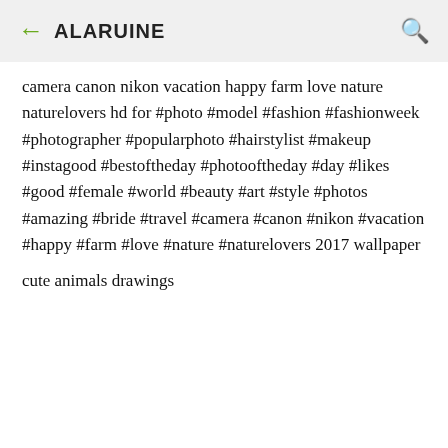← ALARUINE 🔍
camera canon nikon vacation happy farm love nature naturelovers hd for #photo #model #fashion #fashionweek #photographer #popularphoto #hairstylist #makeup #instagood #bestoftheday #photooftheday #day #likes #good #female #world #beauty #art #style #photos #amazing #bride #travel #camera #canon #nikon #vacation #happy #farm #love #nature #naturelovers 2017 wallpaper
cute animals drawings